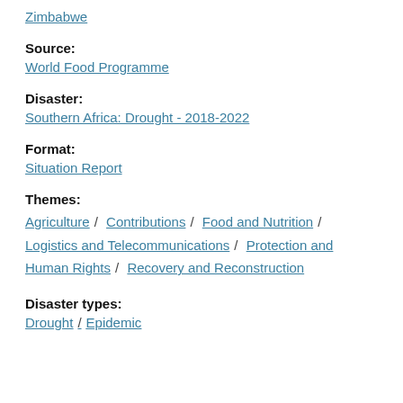Zimbabwe
Source:
World Food Programme
Disaster:
Southern Africa: Drought - 2018-2022
Format:
Situation Report
Themes:
Agriculture / Contributions / Food and Nutrition / Logistics and Telecommunications / Protection and Human Rights / Recovery and Reconstruction
Disaster types:
Drought / Epidemic